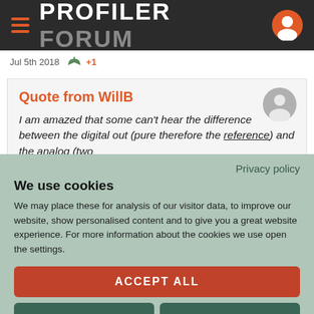PROFILER FORUM
Jul 5th 2018  +1
Quote from WillB

I am amazed that some can't hear the difference between the digital out (pure therefore the reference) and the analog (two
Privacy policy
We use cookies
We may place these for analysis of our visitor data, to improve our website, show personalised content and to give you a great website experience. For more information about the cookies we use open the settings.
ACCEPT ALL
DENY
NO, ADJUST